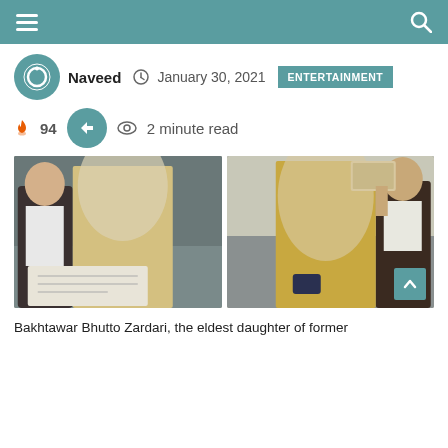Navigation bar with hamburger menu and search icon
Naveed  January 30, 2021  ENTERTAINMENT
94  2 minute read
[Figure (photo): Two wedding photos side by side: left shows a groom signing documents next to a veiled bride in gold embroidered attire; right shows the bride walking in gold outfit with a man holding a book over her head.]
Bakhtawar Bhutto Zardari, the eldest daughter of former